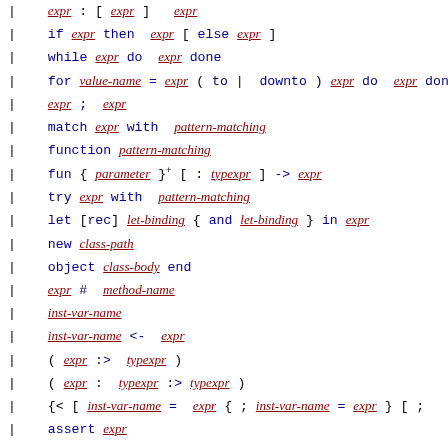| expr ; expr
| if expr then expr [ else expr ]
| while expr do expr done
| for value-name = expr ( to | downto ) expr do expr do...
| expr ; expr
| match expr with pattern-matching
| function pattern-matching
| fun { parameter }+ [ : typexpr ] -> expr
| try expr with pattern-matching
| let [rec] let-binding { and let-binding } in expr
| new class-path
| object class-body end
| expr # method-name
| inst-var-name
| inst-var-name <- expr
| ( expr :> typexpr )
| ( expr : typexpr :> typexpr )
| {< [ inst-var-name = expr { ; inst-var-name = expr } [ ;
| assert expr